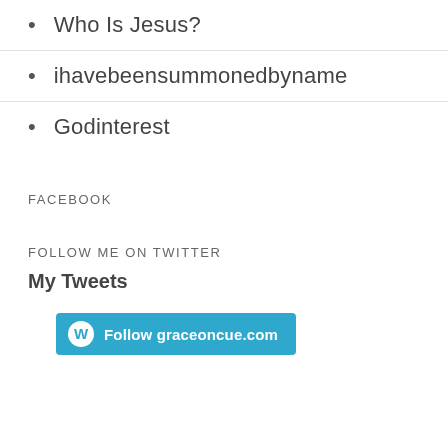Who Is Jesus?
ihavebeensummonedbyname
Godinterest
FACEBOOK
FOLLOW ME ON TWITTER
My Tweets
[Figure (other): Follow graceoncue.com WordPress follow button]